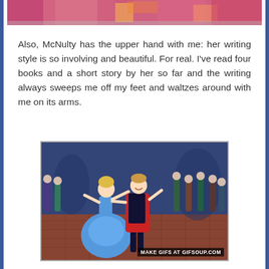[Figure (photo): Partial top image — cropped colorful costume/fabric, dark border on sides]
Also, McNulty has the upper hand with me: her writing style is so involving and beautiful. For real. I've read four books and a short story by her so far and the writing always sweeps me off my feet and waltzes around with me on its arms.
[Figure (illustration): Animated screenshot of Sleeping Beauty dancing scene — Aurora in blue gown dancing with Prince in red in a grand hall. Watermark: MAKE GIFS AT GIFSOUP.COM]